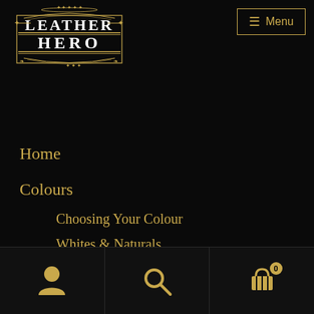[Figure (logo): Leather Hero ornate logo with gold text on black background, decorative scrollwork border]
≡ Menu
Home
Colours
Choosing Your Colour
Whites & Naturals
Blacks & Greys
Blues & Greens
Reds & Yellows
User icon | Search icon | Cart icon (0)